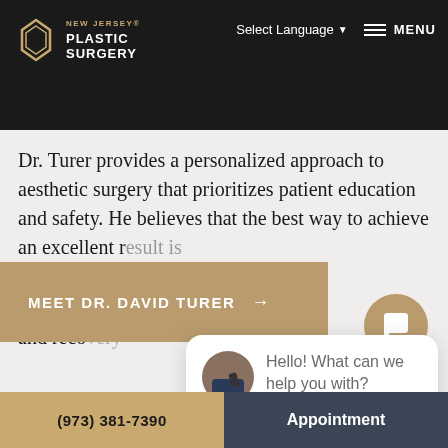[Figure (screenshot): Website screenshot of New Jersey Plastic Surgery featuring navigation bar with logo, language selector, menu button, main content text about Dr. Turer, a chat popup overlay, CTA button, and bottom contact bar]
NEW JERSEY® PLASTIC SURGERY
treatments. Dr. Turer also serves as an Assistant Professor of Plastic Surgery at the University of Pittsburgh.
Dr. Turer provides a personalized approach to aesthetic surgery that prioritizes patient education and safety. He believes that the best way to achieve an excellent result is to listen to patients regarding their goals and desired treatments, and to understand their unique anatomy and recovery expectations.
close
Hello! What can we help you with?
MEET DR. DAVID TURER →
(973) 381-7390    Appointment